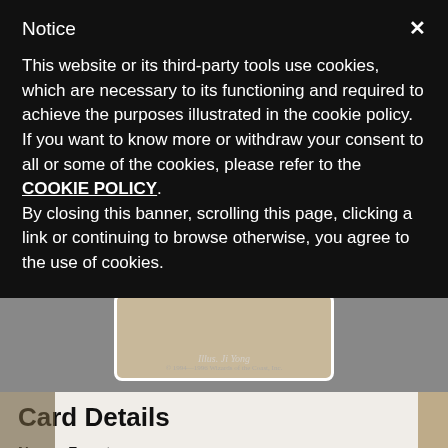Notice
This website or its third-party tools use cookies, which are necessary to its functioning and required to achieve the purposes illustrated in the cookie policy. If you want to know more or withdraw your consent to all or some of the cookies, please refer to the COOKIE POLICY. By closing this banner, scrolling this page, clicking a link or continuing to browse otherwise, you agree to the use of cookies.
[Figure (photo): Bottom portion of a Magic: The Gathering card showing illustrator credit 'Illus. Ji Yong' and copyright '1994-1996 Wizards of the Coast, Inc.' on a brownish card background]
Card Details
Name: Forest
Format: *NON-FOIL*
Set: Battle Royale Box Set
Variant: version 7 [#109]
Cost: